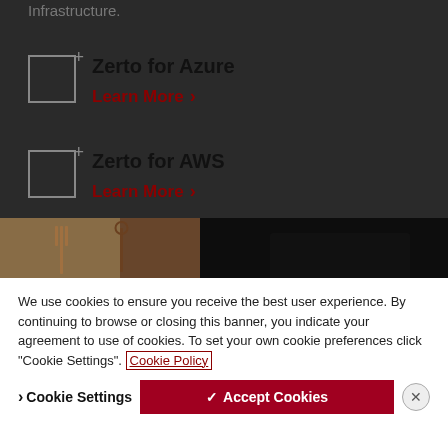Infrastructure.
Zerto for Azure
Learn More >
Zerto for AWS
Learn More >
[Figure (photo): Partial photo of a person at a desk, dark overlay applied]
We use cookies to ensure you receive the best user experience. By continuing to browse or closing this banner, you indicate your agreement to use of cookies. To set your own cookie preferences click "Cookie Settings". Cookie Policy
> Cookie Settings
✓ Accept Cookies